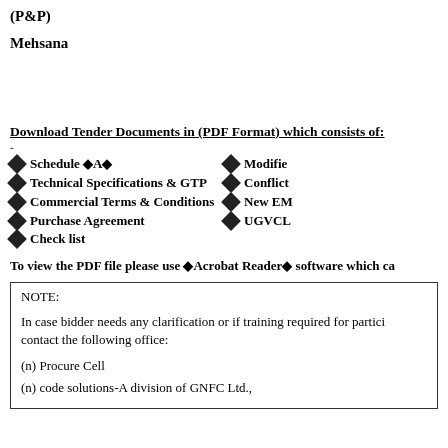(P&P)
Mehsana
Download Tender Documents in (PDF Format) which consists of:
Schedule ◆A◆
Technical Specifications & GTP
Commercial Terms & Conditions
Purchase Agreement
Check list
Modifie
Conflict
New EM
UGVCL
To view the PDF file please use ◆Acrobat Reader◆ software which ca
NOTE:

In case bidder needs any clarification or if training required for partici contact the following office:

(n) Procure Cell

(n) code solutions-A division of GNFC Ltd.,